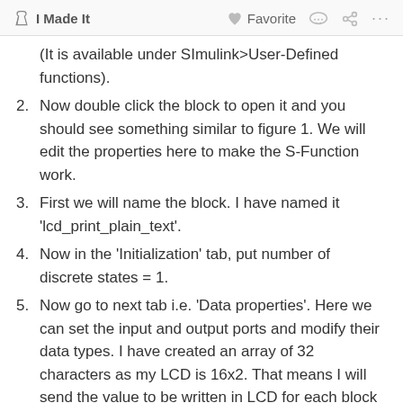I Made It   Favorite   ...
(It is available under SImulink>User-Defined functions).
2. Now double click the block to open it and you should see something similar to figure 1. We will edit the properties here to make the S-Function work.
3. First we will name the block. I have named it 'lcd_print_plain_text'.
4. Now in the 'Initialization' tab, put number of discrete states = 1.
5. Now go to next tab i.e. 'Data properties'. Here we can set the input and output ports and modify their data types. I have created an array of 32 characters as my LCD is 16x2. That means I will send the value to be written in LCD for each block